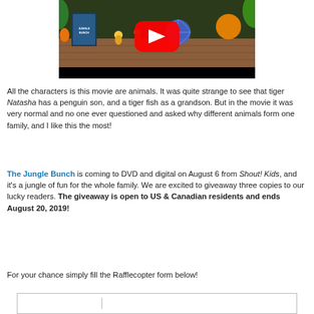[Figure (screenshot): YouTube video thumbnail showing The Jungle Bunch movie promotional setup with toys and movie poster on a table, with a red YouTube play button overlay]
All the characters is this movie are animals. It was quite strange to see that tiger Natasha has a penguin son, and a tiger fish as a grandson. But in the movie it was very normal and no one ever questioned and asked why different animals form one family, and I like this the most!
The Jungle Bunch is coming to DVD and digital on August 6 from Shout! Kids, and it's a jungle of fun for the whole family. We are excited to giveaway three copies to our lucky readers. The giveaway is open to US & Canadian residents and ends August 20, 2019!
For your chance simply fill the Rafflecopter form below!